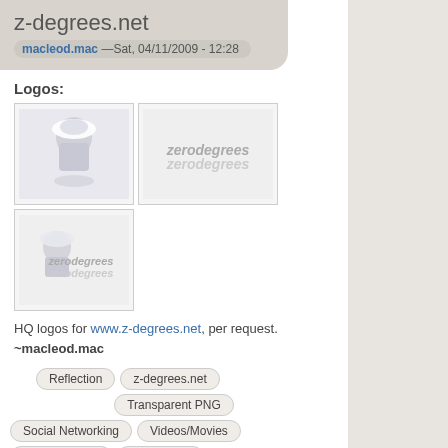z-degrees.net
macleod.mac —Sat, 04/11/2009 - 12:28
Logos:
[Figure (photo): Logo image 1: person in white hat]
[Figure (photo): Logo image 2: zerodegrees text logo on light background]
[Figure (photo): Logo image 3: zerodegrees combined logo with person]
HQ logos for www.z-degrees.net, per request. ~macleod.mac
Reflection
z-degrees.net
Transparent PNG
Social Networking
Videos/Movies
Music Related
Technology
forums
entertainment
asian
degrees
z
z-degrees
Read more  1 comment  Log in or